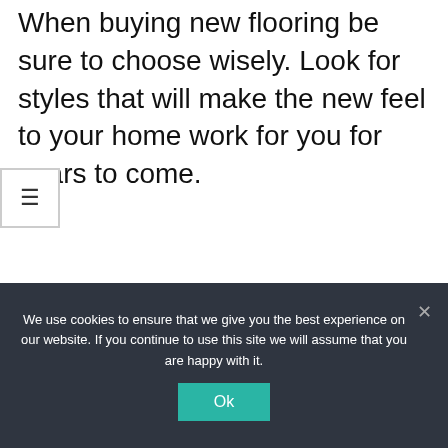When buying new flooring be sure to choose wisely. Look for styles that will make the new feel to your home work for you for years to come.
[Figure (other): Hamburger menu icon button with three horizontal lines, bordered box on left side]
We use cookies to ensure that we give you the best experience on our website. If you continue to use this site we will assume that you are happy with it.
Ok